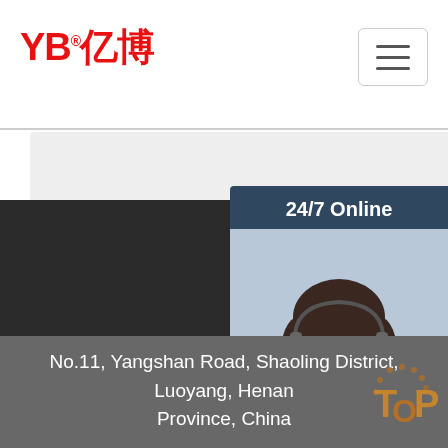[Figure (logo): YB 亿博 company logo in red with registered trademark symbol]
[Figure (other): Hamburger menu icon button in top right corner]
[Figure (other): Gray form area (partially visible contact form)]
[Figure (other): Submit Now orange button on dark background]
[Figure (other): 24/7 Online chat widget with photo of woman with headset, Click here for free chat text, and QUOTATION orange button]
No.11, Yangshan Road, Shaoling District, Luoyang, Henan Province, China
Sitemap | choke kill hose api 16c boston | small diameter hose oil drilling | end hoses conexions tank discharge surat